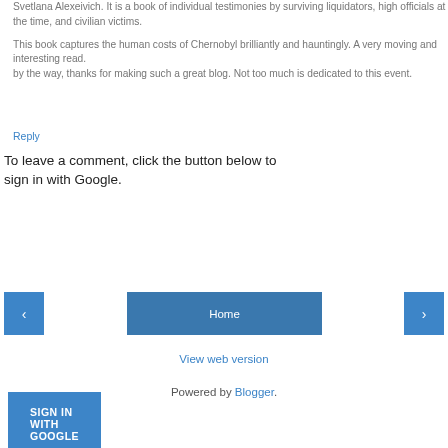Svetlana Alexeivich. It is a book of individual testimonies by surviving liquidators, high officials at the time, and civilian victims.

This book captures the human costs of Chernobyl brilliantly and hauntingly. A very moving and interesting read.
by the way, thanks for making such a great blog. Not too much is dedicated to this event.
Reply
To leave a comment, click the button below to sign in with Google.
SIGN IN WITH GOOGLE
‹
Home
›
View web version
Powered by Blogger.